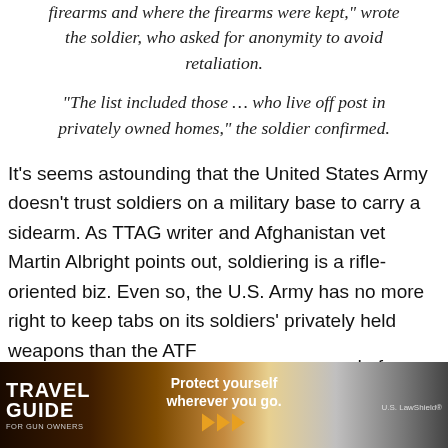firearms and where the firearms were kept," wrote the soldier, who asked for anonymity to avoid retaliation.
“The list included those … who live off post in privately owned homes,” the soldier confirmed.
It’s seems astounding that the United States Army doesn’t trust soldiers on a military base to carry a sidearm. As TTAG writer and Afghanistan vet Martin Albright points out, soldiering is a rifle-oriented biz. Even so, the U.S. Army has no more right to keep tabs on its soldiers’ privately held weapons than the ATF d of yours. orget who
[Figure (photo): Travel Guide For Gun Owners advertisement banner featuring 'Protect yourself wherever you go.' text with orange arrows and U.S. LawShield branding over a scenic sunset background]